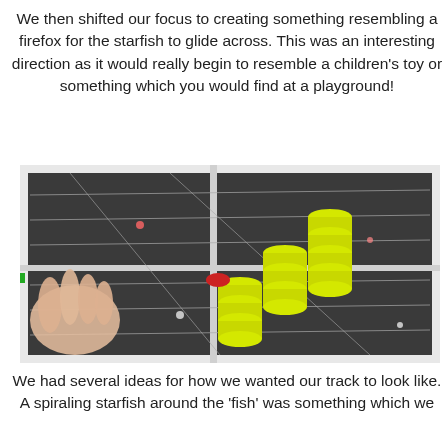We then shifted our focus to creating something resembling a firefox for the starfish to glide across. This was an interesting direction as it would really begin to resemble a children's toy or something which you would find at a playground!
[Figure (photo): A photograph showing a white metal frame structure on a dark surface with yellow cylindrical coils/springs arranged in a staircase pattern inside the frame. A hand is visible on the left side. Strings or wires are stretched across the frame, and there is a small red and green object near the coils.]
We had several ideas for how we wanted our track to look like. A spiraling starfish around the 'fish' was something which we